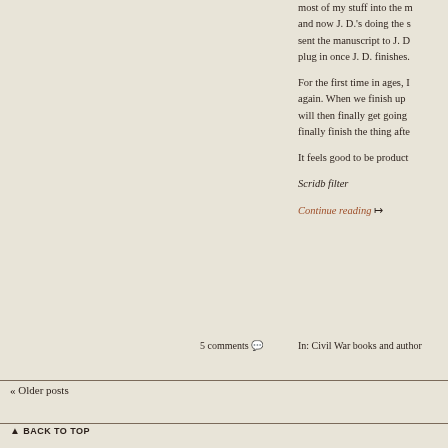most of my stuff into the m and now J. D.'s doing the s sent the manuscript to J. D plug in once J. D. finishes.
For the first time in ages, I again. When we finish up will then finally get going finally finish the thing afte
It feels good to be product
Scridb filter
Continue reading ↦
5 comments
In: Civil War books and author
« Older posts
▲ BACK TO TOP